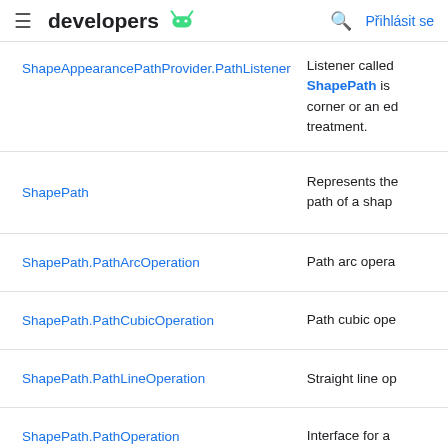≡ developers 🤖 🔍 Přihlásit se
| Class | Description |
| --- | --- |
| ShapeAppearancePathProvider.PathListener | Listener called ShapePath is corner or an ed treatment. |
| ShapePath | Represents the path of a shap |
| ShapePath.PathArcOperation | Path arc opera |
| ShapePath.PathCubicOperation | Path cubic ope |
| ShapePath.PathLineOperation | Straight line op |
| ShapePath.PathOperation | Interface for a operation to b to the operatic |